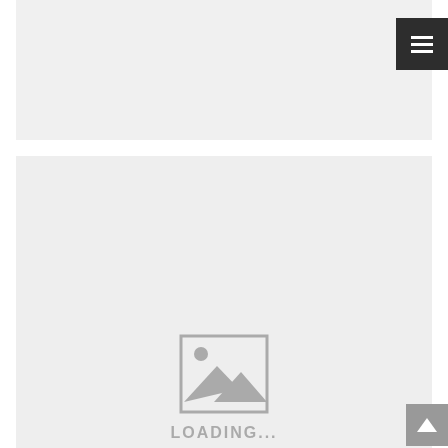[Figure (screenshot): Top panel: light gray rectangle area serving as a content placeholder or banner region with a dark hamburger menu button in the top-right corner.]
[Figure (screenshot): Bottom panel: larger light gray rectangle with a centered image placeholder icon (mountain/landscape icon with sun) and 'LOADING...' text below it. A gray scroll-to-top arrow button appears in the bottom-right corner.]